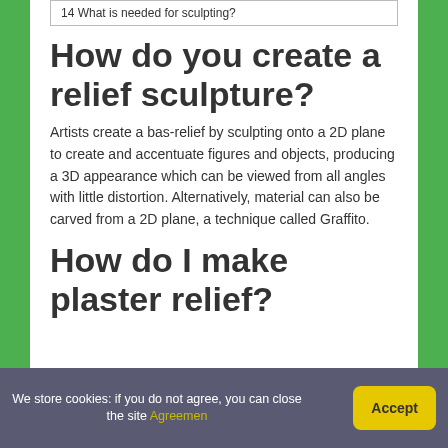14 What is needed for sculpting?
How do you create a relief sculpture?
Artists create a bas-relief by sculpting onto a 2D plane to create and accentuate figures and objects, producing a 3D appearance which can be viewed from all angles with little distortion. Alternatively, material can also be carved from a 2D plane, a technique called Graffito.
How do I make plaster relief?
We store cookies: if you do not agree, you can close the site Agreemen